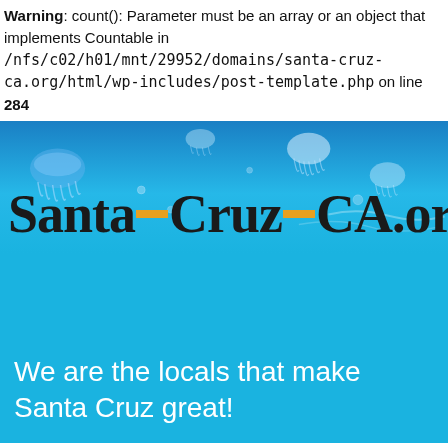Warning: count(): Parameter must be an array or an object that implements Countable in /nfs/c02/h01/mnt/29952/domains/santa-cruz-ca.org/html/wp-includes/post-template.php on line 284
[Figure (illustration): Santa-Cruz-CA.org website banner with jellyfish underwater blue background, large logo text 'Santa-Cruz-CA.org' with orange dashes, and tagline 'We are the locals that make Santa Cruz great!']